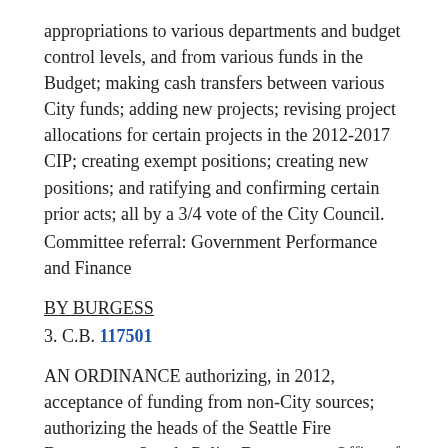appropriations to various departments and budget control levels, and from various funds in the Budget; making cash transfers between various City funds; adding new projects; revising project allocations for certain projects in the 2012-2017 CIP; creating exempt positions; creating new positions; and ratifying and confirming certain prior acts; all by a 3/4 vote of the City Council.
Committee referral: Government Performance and Finance
BY BURGESS
3. C.B. 117501
AN ORDINANCE authorizing, in 2012, acceptance of funding from non-City sources; authorizing the heads of the Seattle Fire Department, Seattle Police Department, Office of Economic Development, Office of Sustainability and Environment, Department of Neighborhoods, Human Services Department, Department of Information Technology, Seattle City Light, Department of Parks and Recreation, Seattle Department of Transportation and Seattle Public Utilities to accept specified grants and private funding and to execute, deliver, and perform